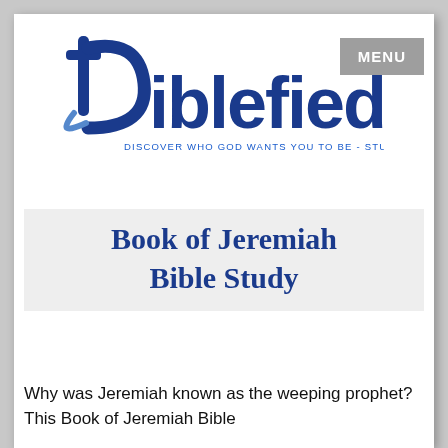[Figure (logo): Biblefied logo with stylized cross/B letter in dark blue and swoosh, text 'Biblefied' in dark blue, tagline 'DISCOVER WHO GOD WANTS YOU TO BE - STUDY THE BIBLE.' in blue]
Book of Jeremiah Bible Study
Why was Jeremiah known as the weeping prophet? This Book of Jeremiah Bible